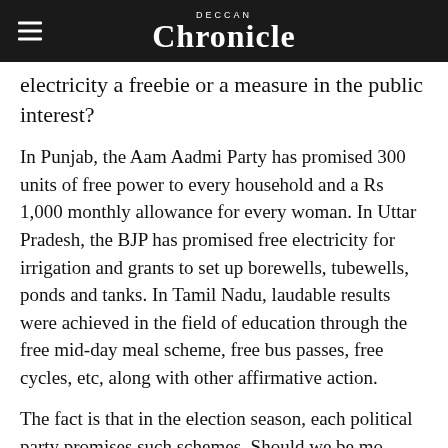Deccan Chronicle
electricity a freebie or a measure in the public interest?
In Punjab, the Aam Aadmi Party has promised 300 units of free power to every household and a Rs 1,000 monthly allowance for every woman. In Uttar Pradesh, the BJP has promised free electricity for irrigation and grants to set up borewells, tubewells, ponds and tanks. In Tamil Nadu, laudable results were achieved in the field of education through the free mid-day meal scheme, free bus passes, free cycles, etc, along with other affirmative action.
The fact is that in the election season, each political party promises such schemes. Should we be more circumspect in the language we use?
Dr Arvind Mayaram, a former finance secretary, said